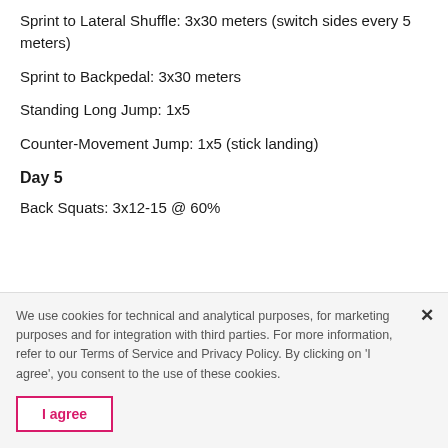Sprint to Lateral Shuffle: 3x30 meters (switch sides every 5 meters)
Sprint to Backpedal: 3x30 meters
Standing Long Jump: 1x5
Counter-Movement Jump: 1x5 (stick landing)
Day 5
Back Squats: 3x12-15 @ 60%
We use cookies for technical and analytical purposes, for marketing purposes and for integration with third parties. For more information, refer to our Terms of Service and Privacy Policy. By clicking on 'I agree', you consent to the use of these cookies.